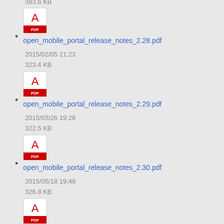383.6 KB
open_mobile_portal_release_notes_2.28.pdf
2015/02/05 21:23
323.4 KB
open_mobile_portal_release_notes_2.29.pdf
2015/03/26 19:26
322.5 KB
open_mobile_portal_release_notes_2.30.pdf
2015/05/18 19:48
326.8 KB
open_mobile_portal_release_notes_2.31.pdf